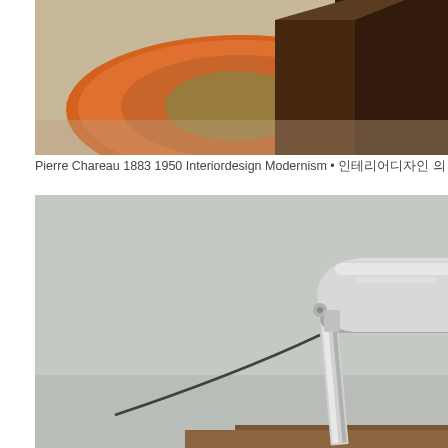[Figure (photo): Interior design photo showing a dark wooden cubic furniture piece on an orange circular rug, in a modernist room setting by Pierre Chareau]
Pierre Chareau 1883 1950 Interiordesign Modernism • 인테리어디자인 의
[Figure (photo): Photo of a modernist adjustable desk lamp with a chrome/nickel finish, featuring a rectangular arm and a rounded rectangular shade, designed in the style of Pierre Chareau]